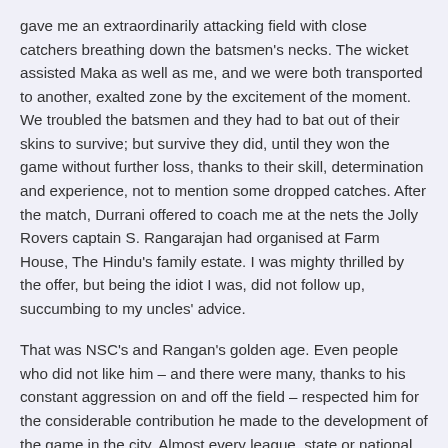gave me an extraordinarily attacking field with close catchers breathing down the batsmen's necks. The wicket assisted Maka as well as me, and we were both transported to another, exalted zone by the excitement of the moment. We troubled the batsmen and they had to bat out of their skins to survive; but survive they did, until they won the game without further loss, thanks to their skill, determination and experience, not to mention some dropped catches. After the match, Durrani offered to coach me at the nets the Jolly Rovers captain S. Rangarajan had organised at Farm House, The Hindu's family estate. I was mighty thrilled by the offer, but being the idiot I was, did not follow up, succumbing to my uncles' advice.
That was NSC's and Rangan's golden age. Even people who did not like him – and there were many, thanks to his constant aggression on and off the field – respected him for the considerable contribution he made to the development of the game in the city. Almost every league, state or national cricketer of Madras came to practise at the Pithapuram nets and play in the hundreds of games he organised there. Rangan met the needs of a whole generation of cricketers